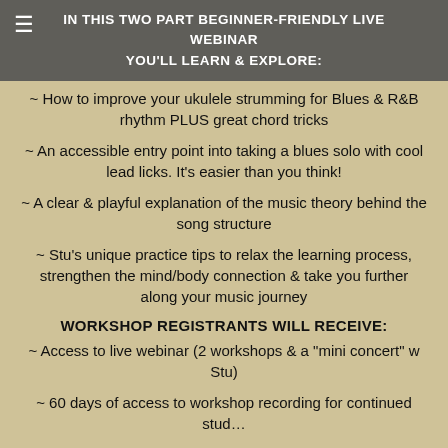IN THIS TWO PART BEGINNER-FRIENDLY LIVE WEBINAR YOU'LL LEARN & EXPLORE:
~ How to improve your ukulele strumming for Blues & R&B rhythm PLUS great chord tricks
~ An accessible entry point into taking a blues solo with cool lead licks. It's easier than you think!
~ A clear & playful explanation of the music theory behind the song structure
~ Stu's unique practice tips to relax the learning process, strengthen the mind/body connection & take you further along your music journey
WORKSHOP REGISTRANTS WILL RECEIVE:
~ Access to live webinar (2 workshops & a "mini concert" w Stu)
60 days of access to workshop recording for continued study